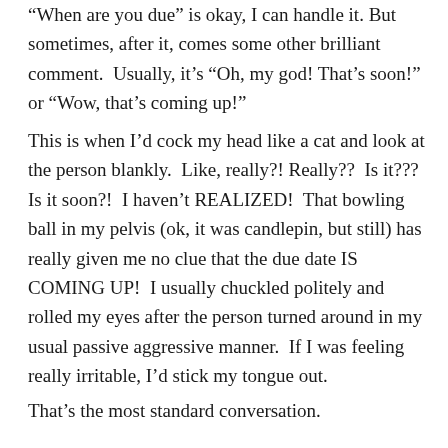“When are you due” is okay, I can handle it. But sometimes, after it, comes some other brilliant comment.  Usually, it’s “Oh, my god! That’s soon!” or “Wow, that’s coming up!”
This is when I’d cock my head like a cat and look at the person blankly.  Like, really?! Really??  Is it???  Is it soon?!  I haven’t REALIZED!  That bowling ball in my pelvis (ok, it was candlepin, but still) has really given me no clue that the due date IS COMING UP!  I usually chuckled politely and rolled my eyes after the person turned around in my usual passive aggressive manner.  If I was feeling really irritable, I’d stick my tongue out.
That’s the most standard conversation.